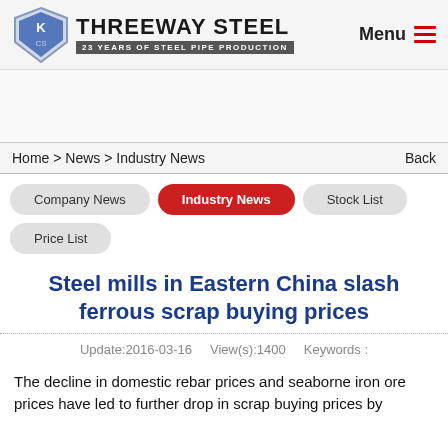[Figure (logo): Threeway Steel logo with shield icon, company name 'THREEWAY STEEL', and tagline '23 YEARS OF STEEL PIPE PRODUCTION']
Menu
Home > News > Industry News
Back
Company News
Industry News
Stock List
Price List
Steel mills in Eastern China slash ferrous scrap buying prices
Update:2016-03-16   View(s):1400   Keywords :
The decline in domestic rebar prices and seaborne iron ore prices have led to further drop in scrap buying prices by